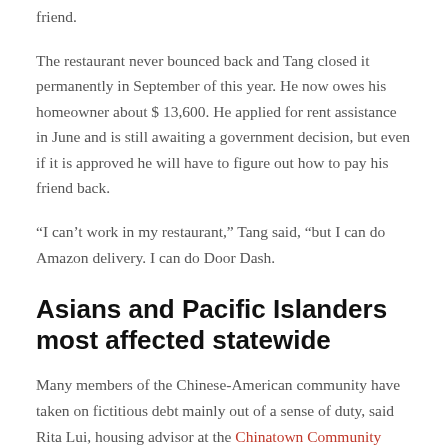friend.
The restaurant never bounced back and Tang closed it permanently in September of this year. He now owes his homeowner about $ 13,600. He applied for rent assistance in June and is still awaiting a government decision, but even if it is approved he will have to figure out how to pay his friend back.
“I can’t work in my restaurant,” Tang said, “but I can do Amazon delivery. I can do Door Dash.
Asians and Pacific Islanders most affected statewide
Many members of the Chinese-American community have taken on fictitious debt mainly out of a sense of duty, said Rita Lui, housing advisor at the Chinatown Community Development Center.